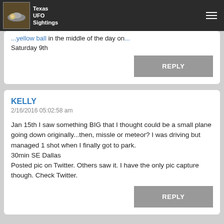Texas UFO Sightings
...yellow ball in the middle of the day on... Saturday 9th
REPLY
KELLY
2/16/2016 05:02:58 am
Jan 15th I saw something BIG that I thought could be a small plane going down originally...then, missle or meteor? I was driving but managed 1 shot when I finally got to park.
30min SE Dallas
Posted pic on Twitter. Others saw it. I have the only pic capture though. Check Twitter.
REPLY